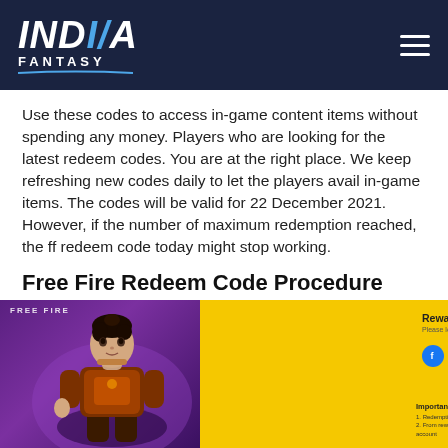INDIA FANTASY
Use these codes to access in-game content items without spending any money. Players who are looking for the latest redeem codes. You are at the right place. We keep refreshing new codes daily to let the players avail in-game items. The codes will be valid for 22 December 2021. However, if the number of maximum redemption reached, the ff redeem code today might stop working.
Free Fire Redeem Code Procedure
[Figure (screenshot): Free Fire Rewards Redemption Site screenshot showing a game character on purple background on the left, and a yellow panel on the right with 'Rewards Redemption Site / Please log in.' text, social login icons (Facebook, VK, Google, Huawei, Apple, Twitter), and an Important Notice section below.]